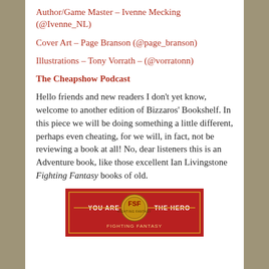Author/Game Master – Ivenne Mecking (@Ivenne_NL)
Cover Art – Page Branson (@page_branson)
Illustrations – Tony Vorrath – (@vorratonn)
The Cheapshow Podcast
Hello friends and new readers I don't yet know, welcome to another edition of Bizzaros' Bookshelf. In this piece we will be doing something a little different, perhaps even cheating, for we will, in fact, not be reviewing a book at all! No, dear listeners this is an Adventure book, like those excellent Ian Livingstone Fighting Fantasy books of old.
[Figure (photo): Book cover image showing red background with text 'YOU ARE THE HERO' and Fighting Fantasy (FSF) logo in gold]